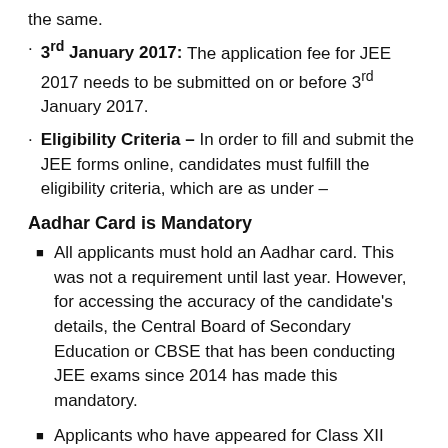the same.
3rd January 2017: The application fee for JEE 2017 needs to be submitted on or before 3rd January 2017.
Eligibility Criteria – In order to fill and submit the JEE forms online, candidates must fulfill the eligibility criteria, which are as under –
Aadhar Card is Mandatory
All applicants must hold an Aadhar card. This was not a requirement until last year. However, for accessing the accuracy of the candidate's details, the Central Board of Secondary Education or CBSE that has been conducting JEE exams since 2014 has made this mandatory.
Applicants who have appeared for Class XII board